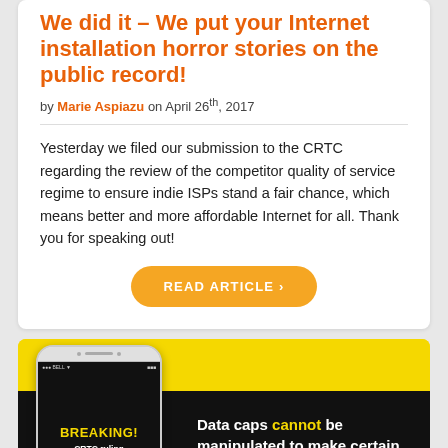We did it – We put your Internet installation horror stories on the public record!
by Marie Aspiazu on April 26th, 2017
Yesterday we filed our submission to the CRTC regarding the review of the competitor quality of service regime to ensure indie ISPs stand a fair chance, which means better and more affordable Internet for all. Thank you for speaking out!
READ ARTICLE ›
[Figure (infographic): Breaking news banner with phone mockup showing CRTC ruling will prevent ZERO-RATING. Text reads: Data caps cannot be manipulated to make certain apps and services more expensive.]